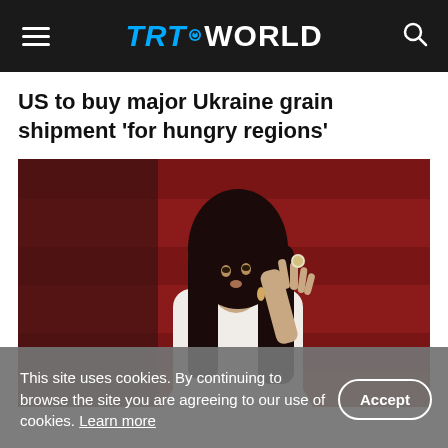TRT WORLD
US to buy major Ukraine grain shipment 'for hungry regions'
[Figure (photo): A woman with long dark hair wearing a white outfit, posing on a red carpet with her hand raised near her face showing a large ring. Red background visible behind her.]
This site uses cookies. By continuing to browse the site you are agreeing to our use of cookies. Learn more